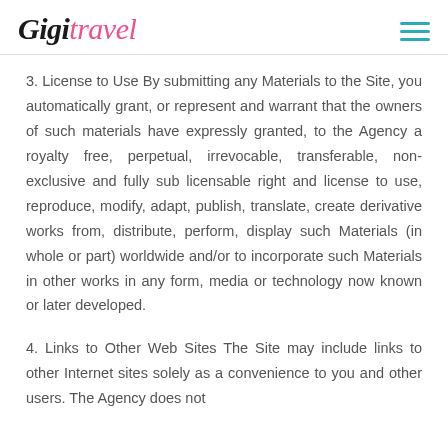Gigi Travel
3. License to Use By submitting any Materials to the Site, you automatically grant, or represent and warrant that the owners of such materials have expressly granted, to the Agency a royalty free, perpetual, irrevocable, transferable, non-exclusive and fully sub licensable right and license to use, reproduce, modify, adapt, publish, translate, create derivative works from, distribute, perform, display such Materials (in whole or part) worldwide and/or to incorporate such Materials in other works in any form, media or technology now known or later developed.
4. Links to Other Web Sites The Site may include links to other Internet sites solely as a convenience to you and other users. The Agency does not